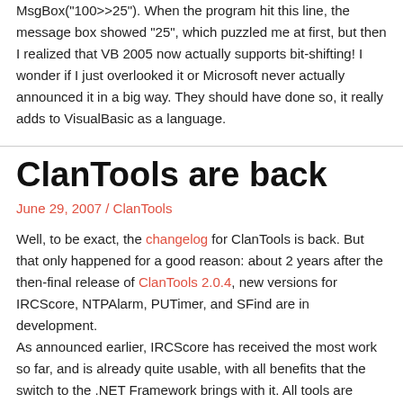MsgBox("100>>25"). When the program hit this line, the message box showed "25", which puzzled me at first, but then I realized that VB 2005 now actually supports bit-shifting! I wonder if I just overlooked it or Microsoft never actually announced it in a big way. They should have done so, it really adds to VisualBasic as a language.
ClanTools are back
June 29, 2007 / ClanTools
Well, to be exact, the changelog for ClanTools is back. But that only happened for a good reason: about 2 years after the then-final release of ClanTools 2.0.4, new versions for IRCScore, NTPAlarm, PUTimer, and SFind are in development.
As announced earlier, IRCScore has received the most work so far, and is already quite usable, with all benefits that the switch to the .NET Framework brings with it. All tools are under heavy